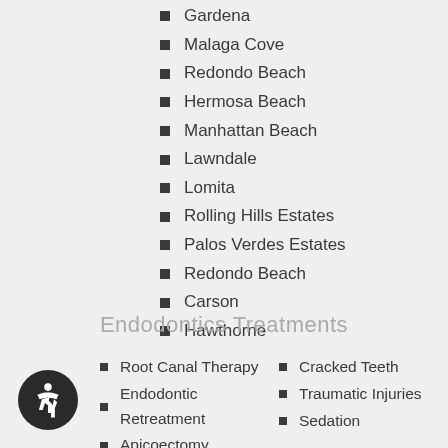Gardena
Malaga Cove
Redondo Beach
Hermosa Beach
Manhattan Beach
Lawndale
Lomita
Rolling Hills Estates
Palos Verdes Estates
Redondo Beach
Carson
Hawthorne
Endodontics Treatments
Root Canal Therapy
Endodontic Retreatment
Apicoectomy
Cracked Teeth
Traumatic Injuries
Sedation